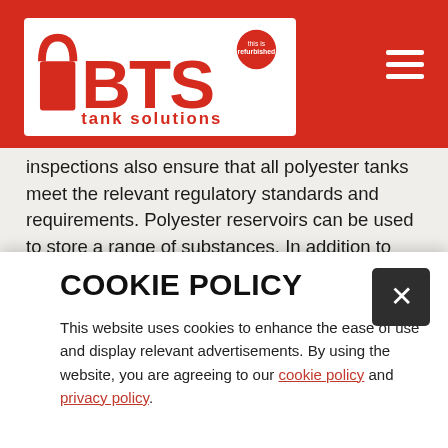BTS Tank Solutions
inspections also ensure that all polyester tanks meet the relevant regulatory standards and requirements. Polyester reservoirs can be used to store a range of substances. In addition to being used as water tanks for gardens or agricultural land, they are also suited for industrial purposes such as the storage of foodstuffs, chemicals, oils, salts, acids, lyes and granulates. If you would like to know whether we stock the right polyester tank for your business, please ask our sales team for more information. All new and used polyester
COOKIE POLICY
This website uses cookies to enhance the ease of use and display relevant advertisements. By using the website, you are agreeing to our cookie policy and privacy policy.